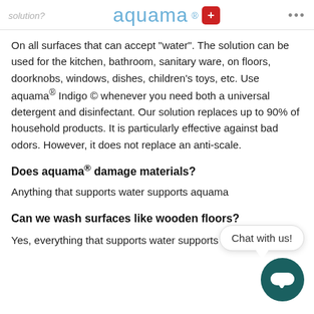solution? aquama® ...
On all surfaces that can accept "water". The solution can be used for the kitchen, bathroom, sanitary ware, on floors, doorknobs, windows, dishes, children's toys, etc. Use aquama® Indigo © whenever you need both a universal detergent and disinfectant. Our solution replaces up to 90% of household products. It is particularly effective against bad odors. However, it does not replace an anti-scale.
Does aquama® damage materials?
Anything that supports water supports aquama
Can we wash surfaces like wooden floors?
Yes, everything that supports water supports aquama®!